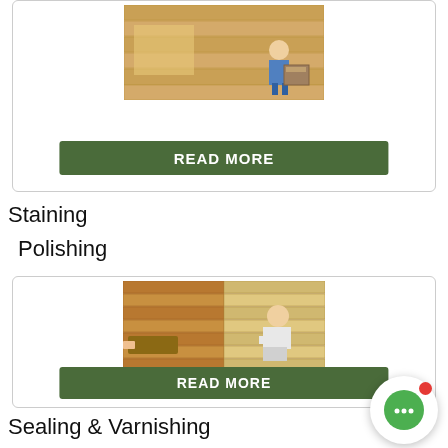[Figure (photo): Workers applying finish to a wooden floor, top partial card]
READ MORE
Staining
Polishing
[Figure (photo): Workers staining and polishing a wooden floor]
READ MORE
Sealing & Varnishing
[Figure (photo): Chat/messaging floating button with red notification dot]